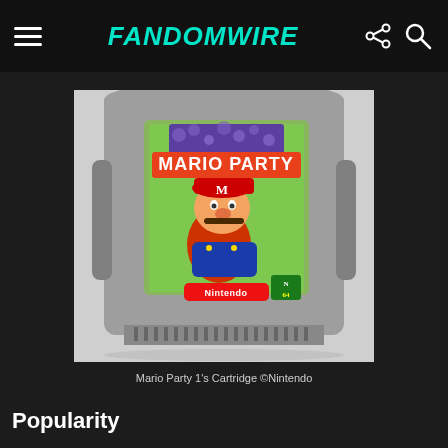FandomWire
[Figure (photo): Photo of Mario Party 1 Nintendo 64 cartridge in gray plastic, showing the game label with Mario holding a star against a colorful background with 'MARIO PARTY' text and Nintendo branding]
Mario Party 1's Cartridge ©Nintendo
Popularity
Despite its early release, this classic game's